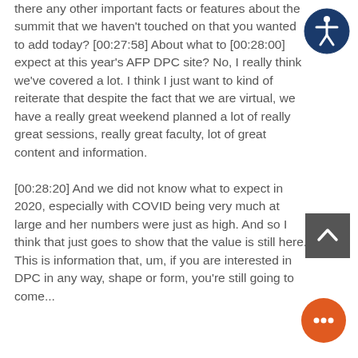there any other important facts or features about the summit that we haven't touched on that you wanted to add today? [00:27:58] About what to [00:28:00] expect at this year's AFP DPC site? No, I really think we've covered a lot. I think I just want to kind of reiterate that despite the fact that we are virtual, we have a really great weekend planned a lot of really great sessions, really great faculty, lot of great content and information. [00:28:20] And we did not know what to expect in 2020, especially with COVID being very much at large and her numbers were just as high. And so I think that just goes to show that the value is still here. This is information that, um, if you are interested in DPC in any way, shape or form, you're still going to come...